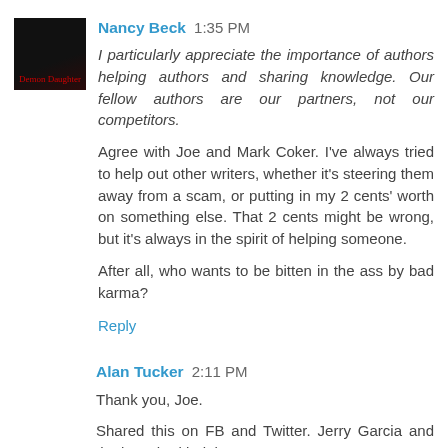Nancy Beck 1:35 PM
I particularly appreciate the importance of authors helping authors and sharing knowledge. Our fellow authors are our partners, not our competitors.
Agree with Joe and Mark Coker. I've always tried to help out other writers, whether it's steering them away from a scam, or putting in my 2 cents' worth on something else. That 2 cents might be wrong, but it's always in the spirit of helping someone.
After all, who wants to be bitten in the ass by bad karma?
Reply
Alan Tucker 2:11 PM
Thank you, Joe.
Shared this on FB and Twitter. Jerry Garcia and the boys had it right: